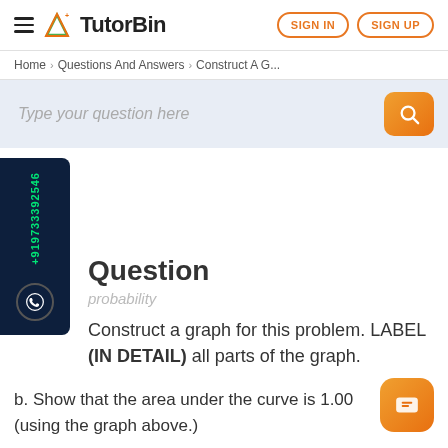TutorBin — SIGN IN | SIGN UP
Home > Questions And Answers > Construct A G...
Type your question here
Question
probability
Construct a graph for this problem. LABEL (IN DETAIL) all parts of the graph.
b. Show that the area under the curve is 1.00 (using the graph above.)